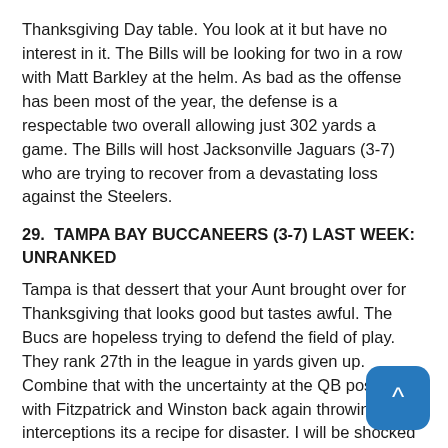Thanksgiving Day table. You look at it but have no interest in it. The Bills will be looking for two in a row with Matt Barkley at the helm. As bad as the offense has been most of the year, the defense is a respectable two overall allowing just 302 yards a game. The Bills will host Jacksonville Jaguars (3-7) who are trying to recover from a devastating loss against the Steelers.
29. TAMPA BAY BUCCANEERS (3-7) LAST WEEK: UNRANKED
Tampa is that dessert that your Aunt brought over for Thanksgiving that looks good but tastes awful. The Bucs are hopeless trying to defend the field of play. They rank 27th in the league in yards given up. Combine that with the uncertainty at the QB position with Fitzpatrick and Winston back again throwing brutal interceptions its a recipe for disaster. I will be shocked if Head Coach Dirk Koetter survives this season. The Bucs have so m offensive weapons but will be lucky to win 1 or 2 more